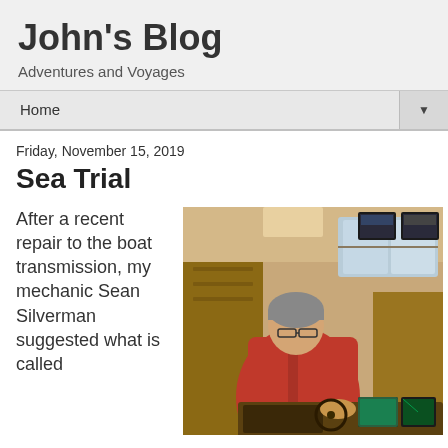John's Blog
Adventures and Voyages
Home
Friday, November 15, 2019
Sea Trial
After a recent repair to the boat transmission, my mechanic Sean Silverman suggested what is called
[Figure (photo): Person in red jacket seated at a boat helm/navigation station with multiple screens and wood paneling interior]